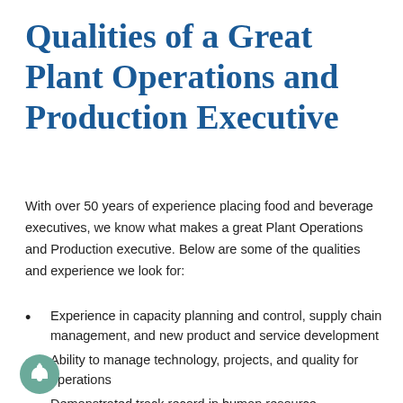Qualities of a Great Plant Operations and Production Executive
With over 50 years of experience placing food and beverage executives, we know what makes a great Plant Operations and Production executive. Below are some of the qualities and experience we look for:
Experience in capacity planning and control, supply chain management, and new product and service development
Ability to manage technology, projects, and quality for operations
Demonstrated track record in human resource